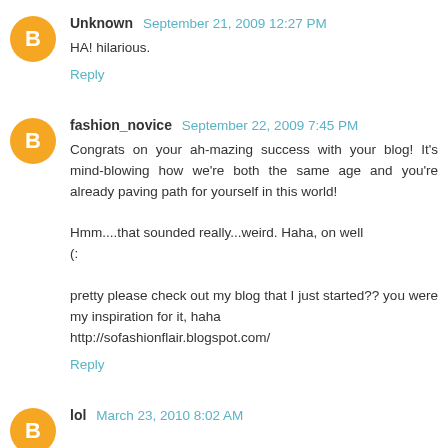Unknown  September 21, 2009 12:27 PM
HA! hilarious.
Reply
fashion_novice  September 22, 2009 7:45 PM
Congrats on your ah-mazing success with your blog! It's mind-blowing how we're both the same age and you're already paving path for yourself in this world!

Hmm....that sounded really...weird. Haha, on well
(:

pretty please check out my blog that I just started?? you were my inspiration for it, haha
http://sofashionflair.blogspot.com/
Reply
lol  March 23, 2010 8:02 AM